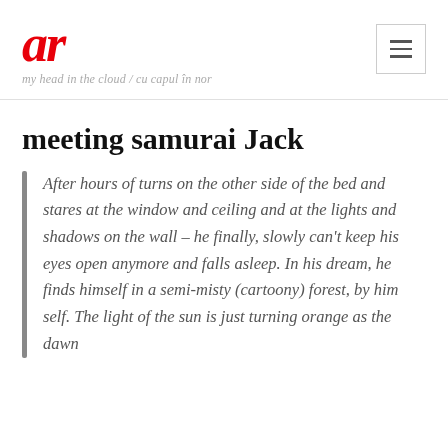ar — my head in the cloud / cu capul în nor
meeting samurai Jack
After hours of turns on the other side of the bed and stares at the window and ceiling and at the lights and shadows on the wall – he finally, slowly can't keep his eyes open anymore and falls asleep. In his dream, he finds himself in a semi-misty (cartoony) forest, by him self. The light of the sun is just turning orange as the dawn